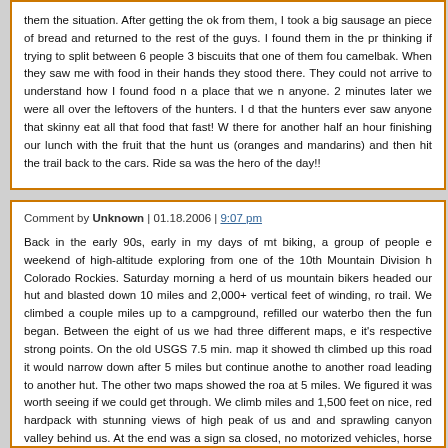them the situation. After getting the ok from them, I took a big sausage and piece of bread and returned to the rest of the guys. I found them in the pr thinking if trying to split between 6 people 3 biscuits that one of them fou camelbak. When they saw me with food in their hands they stood there. They could not arrive to understand how I found food n a place that we n anyone. 2 minutes later we were all over the leftovers of the hunters. I d that the hunters ever saw anyone that skinny eat all that food that fast! W there for another half an hour finishing our lunch with the fruit that the hunt us (oranges and mandarins) and then hit the trail back to the cars. Ride sa was the hero of the day!!
Comment by Unknown | 01.18.2006 | 9:07 pm
Back in the early 90s, early in my days of mt biking, a group of people e weekend of high-altitude exploring from one of the 10th Mountain Division h Colorado Rockies. Saturday morning a herd of us mountain bikers headed our hut and blasted down 10 miles and 2,000+ vertical feet of winding, ro trail. We climbed a couple miles up to a campground, refilled our waterbo then the fun began. Between the eight of us we had three different maps, e it's respective strong points. On the old USGS 7.5 min. map it showed th climbed up this road it would narrow down after 5 miles but continue anothe to another road leading to another hut. The other two maps showed the roa at 5 miles. We figured it was worth seeing if we could get through. We climb miles and 1,500 feet on nice, red hardpack with stunning views of high pea of us and and sprawling canyon valley behind us. At the end was a sign sa closed, no motorized vehicles, horse and foot traffic permitted". We deci